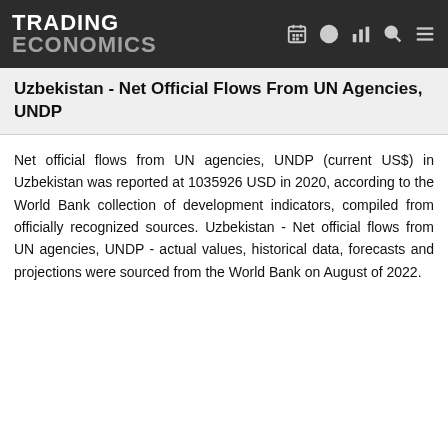TRADING ECONOMICS
Uzbekistan - Net Official Flows From UN Agencies, UNDP
Net official flows from UN agencies, UNDP (current US$) in Uzbekistan was reported at 1035926 USD in 2020, according to the World Bank collection of development indicators, compiled from officially recognized sources. Uzbekistan - Net official flows from UN agencies, UNDP - actual values, historical data, forecasts and projections were sourced from the World Bank on August of 2022.